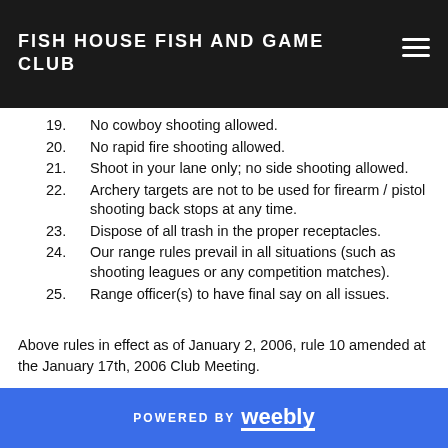FISH HOUSE FISH AND GAME CLUB
19.   No cowboy shooting allowed.
20.   No rapid fire shooting allowed.
21.   Shoot in your lane only; no side shooting allowed.
22.   Archery targets are not to be used for firearm / pistol shooting back stops at any time.
23.   Dispose of all trash in the proper receptacles.
24.   Our range rules prevail in all situations (such as shooting leagues or any competition matches).
25.   Range officer(s) to have final say on all issues.
Above rules in effect as of January 2, 2006, rule 10 amended at the January 17th, 2006 Club Meeting.
POWERED BY weebly